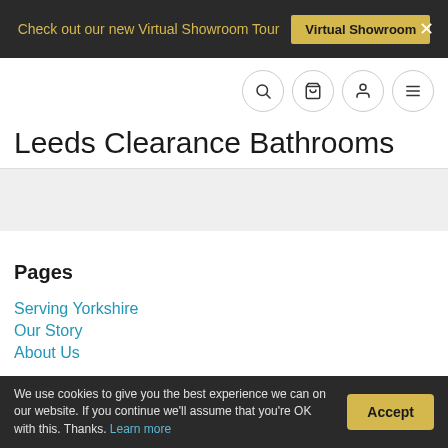Check out our new Virtual Showroom Tour  Virtual Showroom  ×
[Figure (other): Navigation icons: search, cart, account, menu (hamburger)]
Leeds Clearance Bathrooms
Pages
Serving Yorkshire
Our Story
About Us
We use cookies to give you the best experience we can on our website. If you continue we'll assume that you're OK with this. Thanks. Learn more  Accept